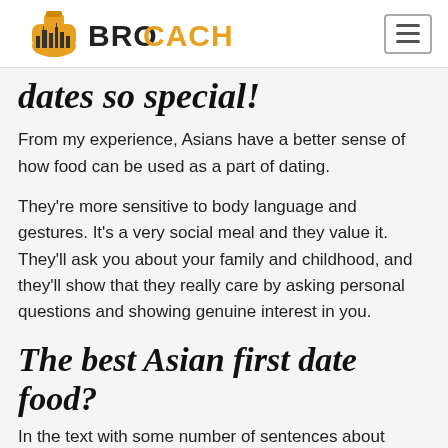BROCACH
dates so special!
From my experience, Asians have a better sense of how food can be used as a part of dating.
They're more sensitive to body language and gestures. It's a very social meal and they value it. They'll ask you about your family and childhood, and they'll show that they really care by asking personal questions and showing genuine interest in you.
The best Asian first date food?
In the text with some number of sentence about Asian food...